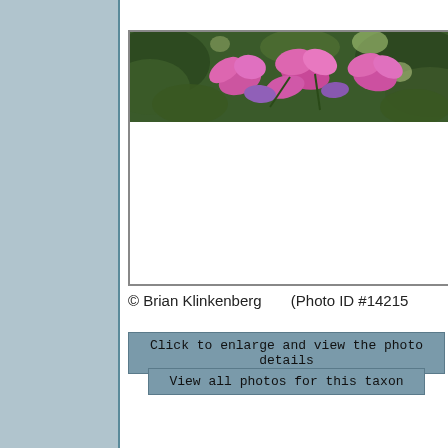[Figure (photo): Photograph of pink/magenta flowers with green leaves, partially cropped at top of frame. Lower portion of the photo frame is white/blank.]
© Brian Klinkenberg    (Photo ID #14215
Click to enlarge and view the photo details
View all photos for this taxon